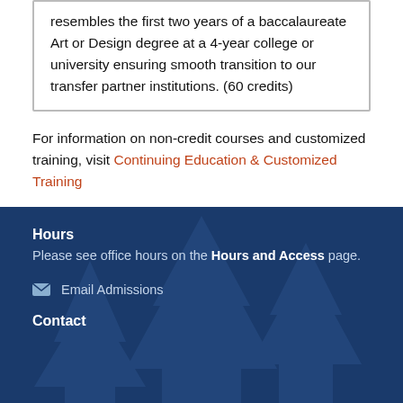resembles the first two years of a baccalaureate Art or Design degree at a 4-year college or university ensuring smooth transition to our transfer partner institutions. (60 credits)
For information on non-credit courses and customized training, visit Continuing Education & Customized Training
Hours
Please see office hours on the Hours and Access page.
Email Admissions
Contact